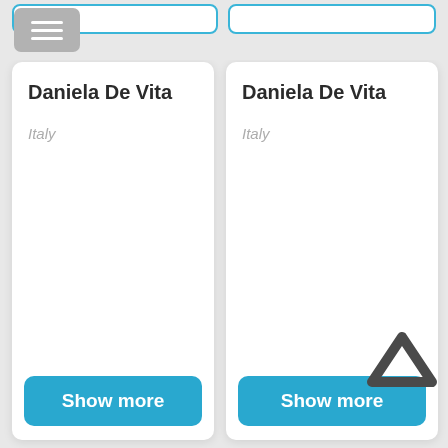[Figure (screenshot): Two profile cards side by side, each showing 'Daniela De Vita' with 'Italy' and a 'Show more' button. A hamburger menu icon is visible in the top left. A chevron/up-arrow icon overlaps the bottom-right card.]
Daniela De Vita
Italy
Show more
Daniela De Vita
Italy
Show more